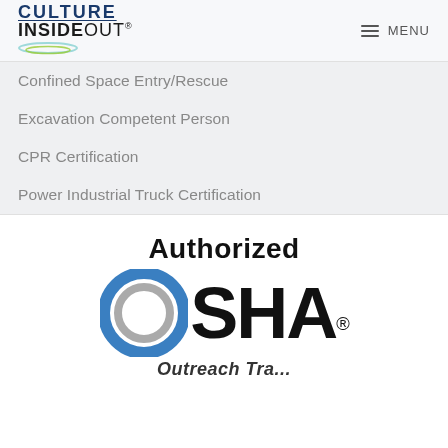CULTURE INSIDEOUT® MENU
Confined Space Entry/Rescue
Excavation Competent Person
CPR Certification
Power Industrial Truck Certification
[Figure (logo): Authorized OSHA logo with blue circular O graphic and large OSHA lettering with registered trademark symbol, followed by partially visible italic text below]